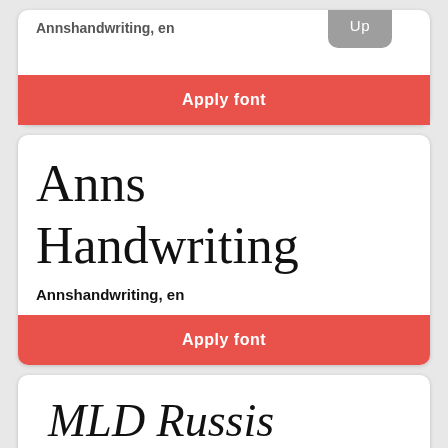[Figure (screenshot): Partial card at top with 'Apply font' red button and 'Up' grey tab]
Anns Handwriting
Annshandwriting, en
Apply font
[Figure (screenshot): Partial card at bottom showing 'MLD Russis' in italic handwriting font]